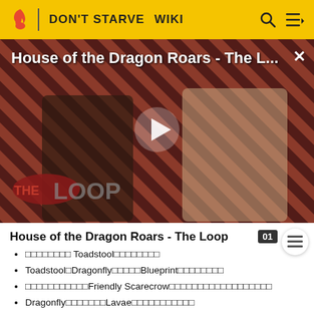DON'T STARVE  WIKI
[Figure (screenshot): Video thumbnail for 'House of the Dragon Roars - The L...' showing two characters with diagonal stripe background, a play button in center, and 'THE LOOP' badge in lower left. Close (×) button top right.]
House of the Dragon Roars - The Loop
□□□□□□□□ Toadstool□□□□□□□□
Toadstool□Dragonfly□□□□□Blueprint□□□□□□□□
□□□□□□□□□□□Friendly Scarecrow□□□□□□□□□□□□□□□□□□□
Dragonfly□□□□□□□Lavae□□□□□□□□□□□□